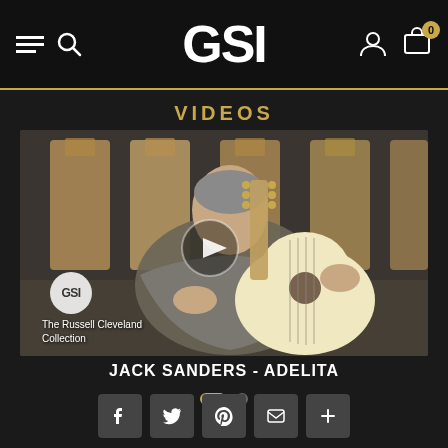GSI
VIDEOS
[Figure (screenshot): Video thumbnail showing a man in a grey blazer playing a classical guitar in front of a wall display of guitars. A play button overlay is visible in the center. A GSI watermark circle and text 'The Russell Cleveland Collection' appear in the lower left.]
JACK SANDERS - ADELITA
Carousel dots: active dot and inactive dot
Social share buttons: Facebook, Twitter, Pinterest, Email, Plus